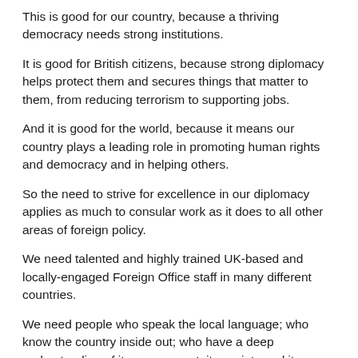This is good for our country, because a thriving democracy needs strong institutions.
It is good for British citizens, because strong diplomacy helps protect them and secures things that matter to them, from reducing terrorism to supporting jobs.
And it is good for the world, because it means our country plays a leading role in promoting human rights and democracy and in helping others.
So the need to strive for excellence in our diplomacy applies as much to consular work as it does to all other areas of foreign policy.
We need talented and highly trained UK-based and locally-engaged Foreign Office staff in many different countries.
We need people who speak the local language; who know the country inside out; who have a deep understanding of its government, its society and its institutions, and who are able to use the latest technology in creative ways to help British nationals, as our staff in Japan did to use Facebook to track missing people after the tsunami.